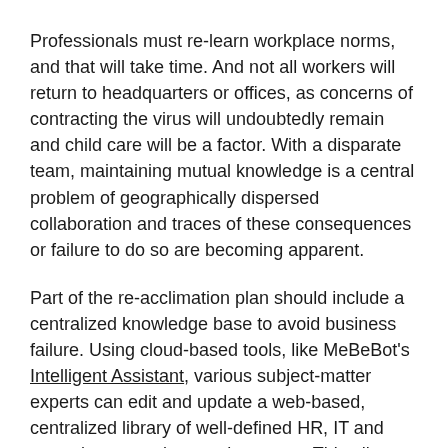Professionals must re-learn workplace norms, and that will take time. And not all workers will return to headquarters or offices, as concerns of contracting the virus will undoubtedly remain and child care will be a factor. With a disparate team, maintaining mutual knowledge is a central problem of geographically dispersed collaboration and traces of these consequences or failure to do so are becoming apparent.
Part of the re-acclimation plan should include a centralized knowledge base to avoid business failure. Using cloud-based tools, like MeBeBot's Intelligent Assistant, various subject-matter experts can edit and update a web-based, centralized library of well-defined HR, IT and operations questions and answers. This allows for knowledge to be shared, across time zones and areas of the business. Plus, this valuable information can be linked to technical support documents, policies, detailed benefits information, and other guides for addressing immediate needs.